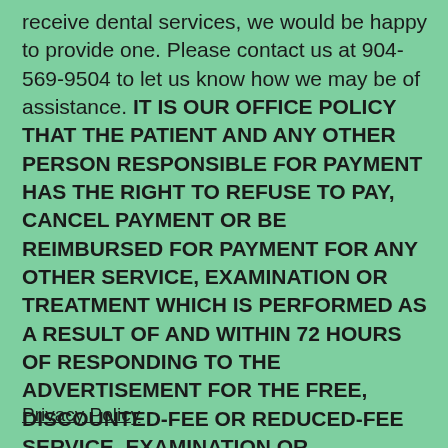receive dental services, we would be happy to provide one. Please contact us at 904-569-9504 to let us know how we may be of assistance. IT IS OUR OFFICE POLICY THAT THE PATIENT AND ANY OTHER PERSON RESPONSIBLE FOR PAYMENT HAS THE RIGHT TO REFUSE TO PAY, CANCEL PAYMENT OR BE REIMBURSED FOR PAYMENT FOR ANY OTHER SERVICE, EXAMINATION OR TREATMENT WHICH IS PERFORMED AS A RESULT OF AND WITHIN 72 HOURS OF RESPONDING TO THE ADVERTISEMENT FOR THE FREE, DISCOUNTED-FEE OR REDUCED-FEE SERVICE, EXAMINATION OR TREATMENT.
Privacy Policy